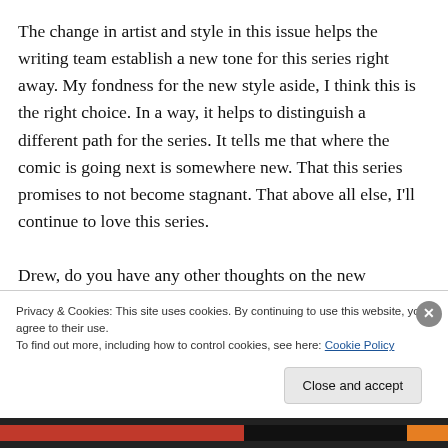The change in artist and style in this issue helps the writing team establish a new tone for this series right away. My fondness for the new style aside, I think this is the right choice. In a way, it helps to distinguish a different path for the series. It tells me that where the comic is going next is somewhere new. That this series promises to not become stagnant. That above all else, I'll continue to love this series.

Drew, do you have any other thoughts on the new
Privacy & Cookies: This site uses cookies. By continuing to use this website, you agree to their use.
To find out more, including how to control cookies, see here: Cookie Policy
Close and accept